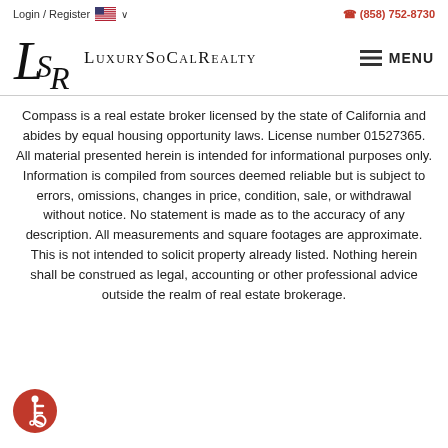Login / Register   🇺🇸 ∨     📞 (858) 752-8730
[Figure (logo): LuxurySoCalRealty logo with LSR monogram and stylized text, plus hamburger MENU button]
Compass is a real estate broker licensed by the state of California and abides by equal housing opportunity laws. License number 01527365. All material presented herein is intended for informational purposes only. Information is compiled from sources deemed reliable but is subject to errors, omissions, changes in price, condition, sale, or withdrawal without notice. No statement is made as to the accuracy of any description. All measurements and square footages are approximate. This is not intended to solicit property already listed. Nothing herein shall be construed as legal, accounting or other professional advice outside the realm of real estate brokerage.
[Figure (logo): Accessibility icon — red circle with white wheelchair user symbol]